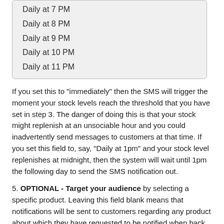Daily at 7 PM
Daily at 8 PM
Daily at 9 PM
Daily at 10 PM
Daily at 11 PM
If you set this to "immediately" then the SMS will trigger the moment your stock levels reach the threshold that you have set in step 3. The danger of doing this is that your stock might replenish at an unsociable hour and you could inadvertently send messages to customers at that time. If you set this field to, say, "Daily at 1pm" and your stock level replenishes at midnight, then the system will wait until 1pm the following day to send the SMS notification out.
5. OPTIONAL - Target your audience by selecting a specific product. Leaving this field blank means that notifications will be sent to customers regarding any product about which they have requested to be notified when back in stock.